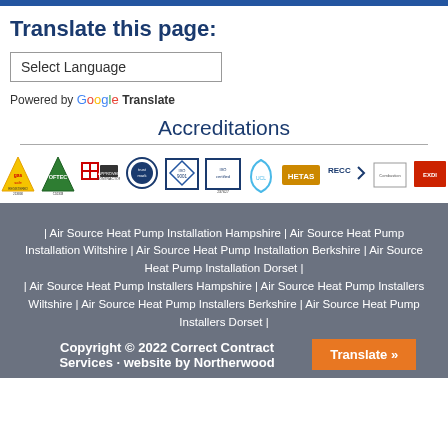Translate this page:
Select Language
Powered by Google Translate
Accreditations
[Figure (logo): Row of accreditation logos: Gas Safe, OFTEC, Approved Contractor (red cross), Trustmark, ISO 9001, ISO certified 237627, UCL, HETAS, RECC, Combustion, EXDI]
| Air Source Heat Pump Installation Hampshire | Air Source Heat Pump Installation Wiltshire | Air Source Heat Pump Installation Berkshire | Air Source Heat Pump Installation Dorset | | Air Source Heat Pump Installers Hampshire | Air Source Heat Pump Installers Wiltshire | Air Source Heat Pump Installers Berkshire | Air Source Heat Pump Installers Dorset |
Copyright © 2022 Correct Contract Services · website by Northerwood